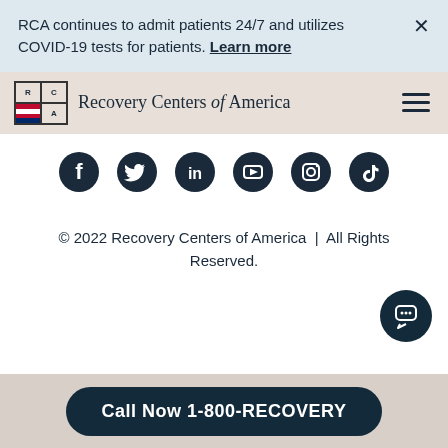RCA continues to admit patients 24/7 and utilizes COVID-19 tests for patients. Learn more
[Figure (logo): Recovery Centers of America logo with RCA grid and American flag, with navigation hamburger menu]
[Figure (infographic): Social media icons: Facebook, Twitter, LinkedIn, YouTube, Instagram, TikTok - circular dark icons]
© 2022 Recovery Centers of America | All Rights Reserved.
[Figure (other): Chat bubble button - dark circular button with chat icon]
Call Now 1-800-RECOVERY